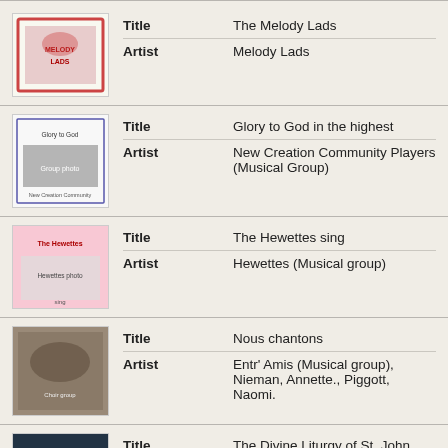[Figure (illustration): Album cover thumbnail for The Melody Lads]
Title: The Melody Lads | Artist: Melody Lads
[Figure (illustration): Album cover thumbnail for Glory to God in the highest]
Title: Glory to God in the highest | Artist: New Creation Community Players (Musical Group)
[Figure (illustration): Album cover thumbnail for The Hewettes sing]
Title: The Hewettes sing | Artist: Hewettes (Musical group)
[Figure (illustration): Album cover thumbnail for Nous chantons]
Title: Nous chantons | Artist: Entr' Amis (Musical group), Nieman, Annette., Piggott, Naomi.
[Figure (illustration): Album cover thumbnail for The Divine Liturgy of St. John]
Title: The Divine Liturgy of St. John